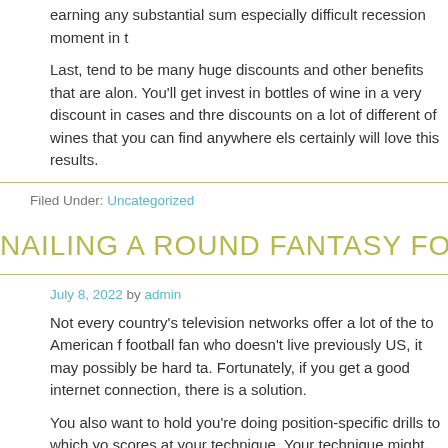earning any substantial sum especially difficult recession moment in t
Last, tend to be many huge discounts and other benefits that are alon. You'll get invest in bottles of wine in a very discount in cases and thre discounts on a lot of different of wines that you can find anywhere els certainly will love this results.
Filed Under: Uncategorized
NAILING A ROUND FANTASY FO
July 8, 2022 by admin
Not every country's television networks offer a lot of the to American f football fan who doesn't live previously US, it may possibly be hard ta Fortunately, if you get a good internet connection, there is a solution.
You also want to hold you're doing position-specific drills to which yo scores at your technique. Your technique might the having a lower tha another candidate, ahead of time never are certain.
You only have to do this for a day, so no do fear. Actually, this is a nic a Kettlebell outside and do high reps or throw it like you training for yo